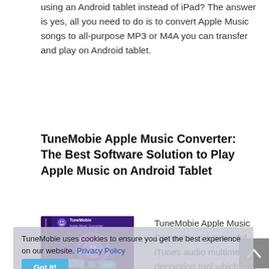using an Android tablet instead of iPad? The answer is yes, all you need to do is to convert Apple Music songs to all-purpose MP3 or M4A you can transfer and play on Android tablet.
TuneMobie Apple Music Converter: The Best Software Solution to Play Apple Music on Android Tablet
[Figure (photo): TuneMobie Apple Music Converter software box with logo and product details, showing www.tunemobie.com]
TuneMobie Apple Music Converter is a powerful iTunes audio multimedia decryption tool which can help you remove decrypt Apple Music songs, iTunes M4B audiobooks and Audible AA/AAX audiobooks, convert Apple Music and
TuneMobie uses cookies to ensure you get the best experience on our website. Privacy Policy Got it!